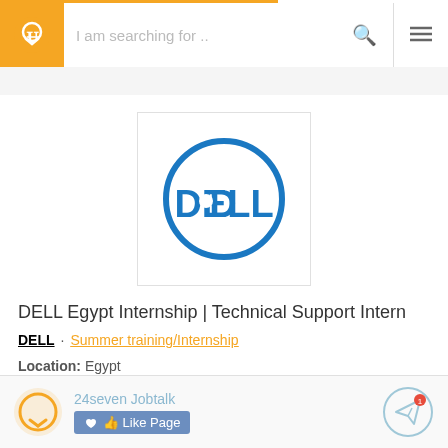[Figure (screenshot): Mobile app navigation header with orange logo icon, search bar, search icon, and hamburger menu]
[Figure (logo): Dell Technologies circular logo in blue on white background]
DELL Egypt Internship | Technical Support Intern
DELL · Summer training/Internship
Location: Egypt
Published: 8 months ago
Share
24seven Jobtalk  Like Page